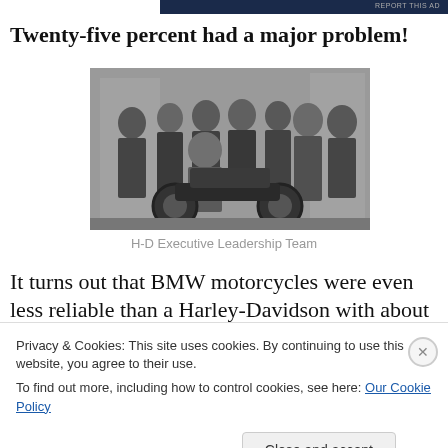[Figure (photo): Dark navy blue advertisement bar at top of page]
REPORT THIS AD
Twenty-five percent had a major problem!
[Figure (photo): Black and white group photo of H-D Executive Leadership Team, approximately 8 people in leather jackets posed around a motorcycle]
H-D Executive Leadership Team
It turns out that BMW motorcycles were even less reliable than a Harley-Davidson with about 1-in-3 owners reporting
Privacy & Cookies: This site uses cookies. By continuing to use this website, you agree to their use.
To find out more, including how to control cookies, see here: Our Cookie Policy
Close and accept
REPORT THIS AD